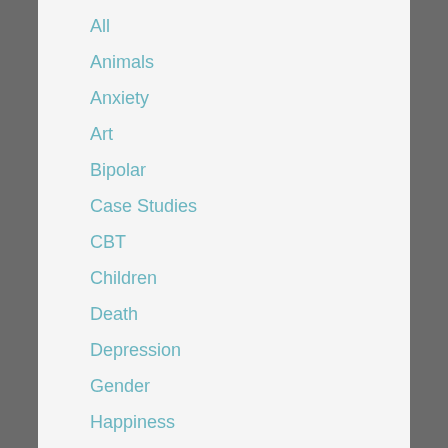All
Animals
Anxiety
Art
Bipolar
Case Studies
CBT
Children
Death
Depression
Gender
Happiness
Loneliness
Love
Mental Health
Motivation
News
People
Places